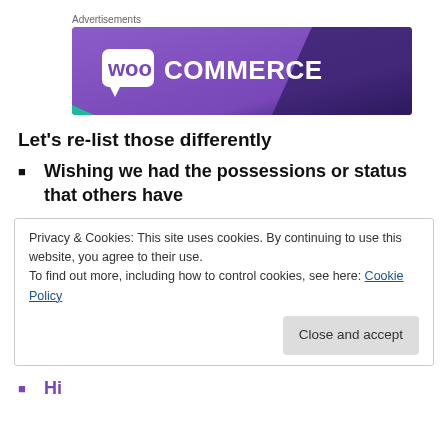[Figure (logo): WooCommerce advertisement banner with purple background and white WooCommerce logo]
Let’s re-list those differently
Wishing we had the possessions or status that others have
Privacy & Cookies: This site uses cookies. By continuing to use this website, you agree to their use.
To find out more, including how to control cookies, see here: Cookie Policy
Close and accept
Historically the...